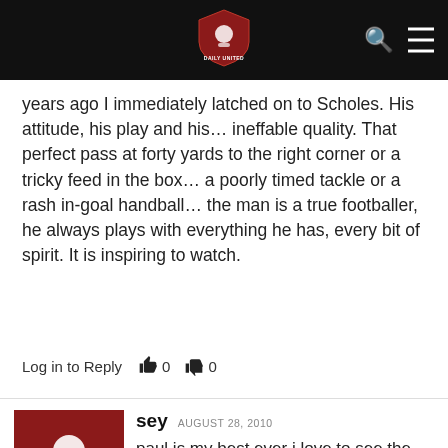[Figure (logo): Red shield logo with fire/fist icon and text 'DAILY UNITED' on black navigation bar]
years ago I immediately latched on to Scholes. His attitude, his play and his… ineffable quality. That perfect pass at forty yards to the right corner or a tricky feed in the box… a poorly timed tackle or a rash in-goal handball… the man is a true footballer, he always plays with everything he has, every bit of spirit. It is inspiring to watch.
Log in to Reply  👍 0  👎 0
[Figure (illustration): Red square avatar with white silhouette of person/user icon]
sey  AUGUST 28, 2010
paul is my best ever i love to see the man passing ball every side of the field the master of midfield any game long live in football my hero .the masterful paul manchester scholes that is the way i use to